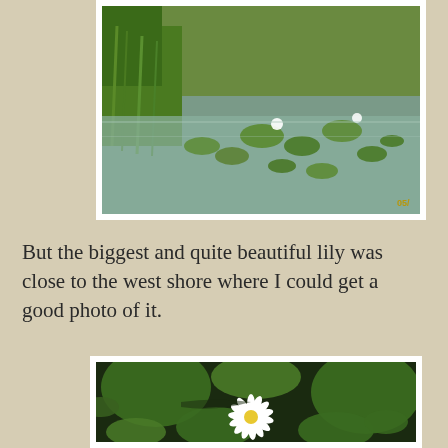[Figure (photo): Photograph of a pond with lily pads and water lilies, with green grass visible on the left shore. A timestamp '05/' visible in bottom right corner.]
But the biggest and quite beautiful lily was close to the west shore where I could get a good photo of it.
[Figure (photo): Close-up photograph of a single white water lily flower with yellow center, surrounded by large green lily pads floating on dark water.]